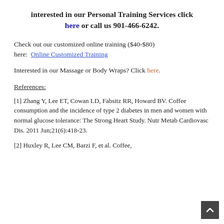interested in our Personal Training Services click here or call us 901-466-6242.
Check out our customized online training ($40-$80) here:  Online Customized Training
Interested in our Massage or Body Wraps? Click here.
References:
[1] Zhang Y, Lee ET, Cowan LD, Fabsitz RR, Howard BV. Coffee consumption and the incidence of type 2 diabetes in men and women with normal glucose tolerance: The Strong Heart Study. Nutr Metab Cardiovasc Dis. 2011 Jun;21(6):418-23.
[2] Huxley R, Lee CM, Barzi F, et al. Coffee,